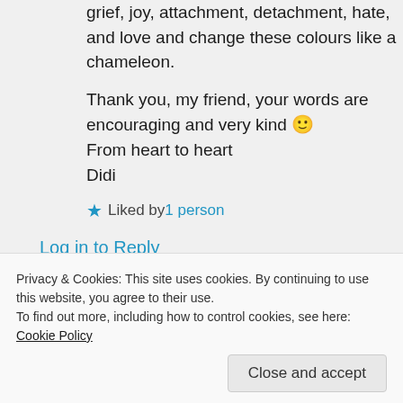grief, joy, attachment, detachment, hate, and love and change these colours like a chameleon.
Thank you, my friend, your words are encouraging and very kind 🙂
From heart to heart
Didi
★ Liked by 1 person
Log in to Reply
Privacy & Cookies: This site uses cookies. By continuing to use this website, you agree to their use.
To find out more, including how to control cookies, see here: Cookie Policy
Close and accept
Thank yoo so much for explaining it